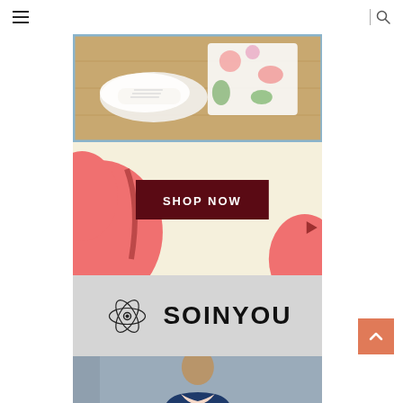Navigation header with hamburger menu and search icon
[Figure (photo): Top-down photo of white canvas sneakers and floral fabric on a wooden surface, framed with a light blue border]
[Figure (infographic): Shop Now promotional banner with cream/beige background, coral blob shapes on left and right, dark maroon button labeled SHOP NOW, and a small play arrow icon]
[Figure (logo): SOINYOU brand logo with an atomic/science icon on the left and bold text SOINYOU on a light grey background]
[Figure (photo): Photo of a person wearing a navy blue sweater with a light pink collared shirt, photographed from chest up]
[Figure (other): Back to top button with orange/coral background and upward chevron arrow]